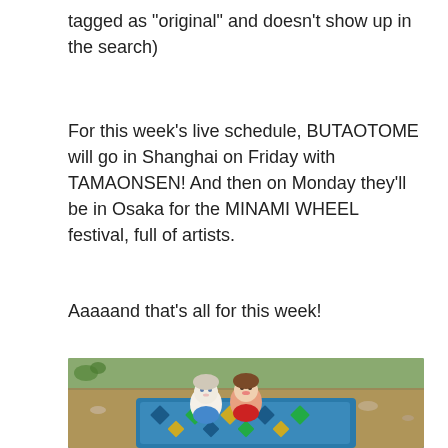tagged as “original” and doesn’t show up in the search)
For this week’s live schedule, BUTAOTOME will go in Shanghai on Friday with TAMAONSEN! And then on Monday they’ll be in Osaka for the MINAMI WHEEL festival, full of artists.
Aaaaand that’s all for this week!
[Figure (photo): Two small plush/chibi dolls sitting on a colorful blue patterned bag/blanket outdoors on dry grass and gravel ground. One doll wearing blue outfit, another wearing red dress.]